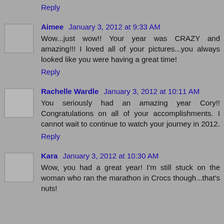Reply
Aimee  January 3, 2012 at 9:33 AM
Wow...just wow!! Your year was CRAZY and amazing!!! I loved all of your pictures...you always looked like you were having a great time!
Reply
Rachelle Wardle  January 3, 2012 at 10:11 AM
You seriously had an amazing year Cory!! Congratulations on all of your accomplishments. I cannot wait to continue to watch your journey in 2012.
Reply
Kara  January 3, 2012 at 10:30 AM
Wow, you had a great year! I'm still stuck on the woman who ran the marathon in Crocs though...that's nuts!